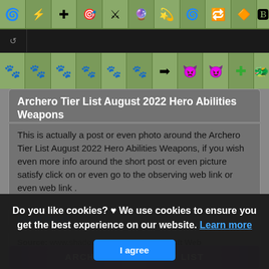[Figure (screenshot): Two rows of game ability icons on green background from Archero game, with a dark/black row in between]
Archero Tier List August 2022 Hero Abilities Weapons
This is actually a post or even photo around the Archero Tier List August 2022 Hero Abilities Weapons, if you wish even more info around the short post or even picture satisfy click on or even go to the observing web link or even web link .
(Read More)
Source: www.shadowknightgaming.com Visit Web
[Figure (screenshot): Archero Hero Tier List card header with purple gradient banner]
Do you like cookies? ♥ We use cookies to ensure you get the best experience on our website. Learn more
I agree